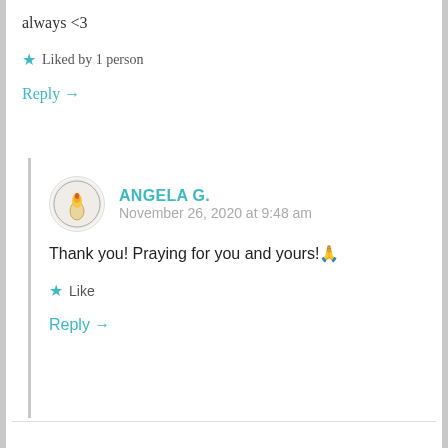always <3
★ Liked by 1 person
Reply →
ANGELA G.
November 26, 2020 at 9:48 am
Thank you! Praying for you and yours!🙏
★ Like
Reply →